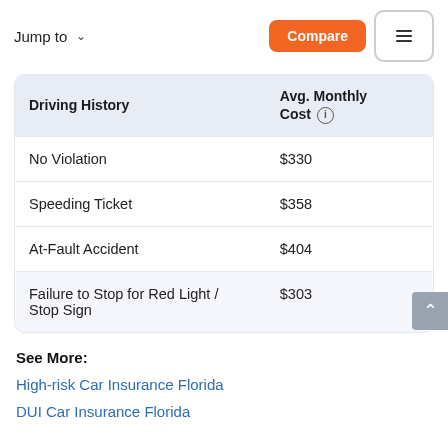Jump to  Compare
| Driving History | Avg. Monthly Cost |
| --- | --- |
| No Violation | $330 |
| Speeding Ticket | $358 |
| At-Fault Accident | $404 |
| Failure to Stop for Red Light / Stop Sign | $303 |
See More:
High-risk Car Insurance Florida
DUI Car Insurance Florida